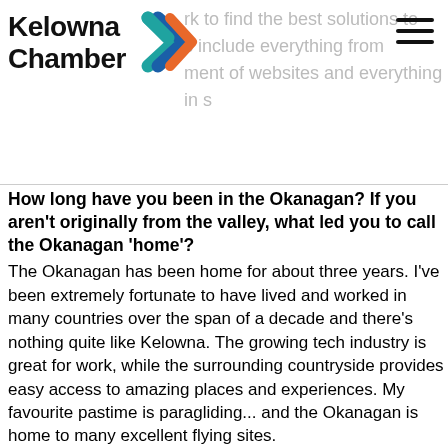[Figure (logo): Kelowna Chamber logo with colourful arrow/chevron icon in teal, blue and orange, bold black text 'Kelowna Chamber', and a hamburger menu icon in the top right]
How long have you been in the Okanagan? If you aren't originally from the valley, what led you to call the Okanagan 'home'?
The Okanagan has been home for about three years. I've been extremely fortunate to have lived and worked in many countries over the span of a decade and there's nothing quite like Kelowna. The growing tech industry is great for work, while the surrounding countryside provides easy access to amazing places and experiences. My favourite pastime is paragliding... and the Okanagan is home to many excellent flying sites.
What do you enjoy most about your role with the Kelowna Chamber?
I just recently became an ambassador for the Kelowna Chamber and I love getting out and chatting with other